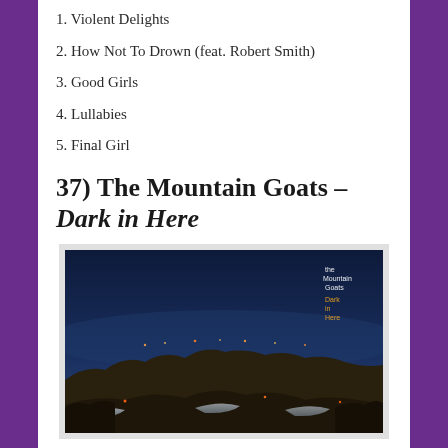1. Violent Delights
2. How Not To Drown (feat. Robert Smith)
3. Good Girls
4. Lullabies
5. Final Girl
37) The Mountain Goats – Dark in Here
[Figure (photo): Album cover for The Mountain Goats – Dark in Here, showing a dark twilight landscape with rocky terrain, snow patches, distant lights on the horizon, and a deep blue sky. Top right corner shows text 'the Mountain Goats Dark in Here' in small white and orange text.]